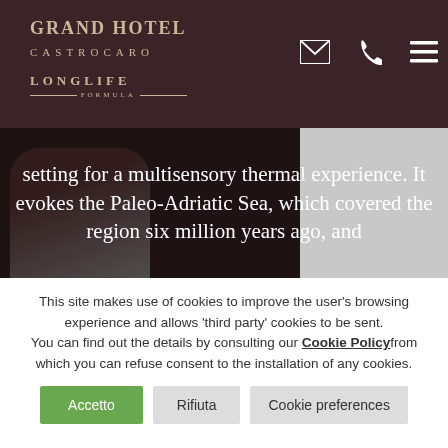GRAND HOTEL CASTROCARO LONGLIFE FORMULA
[Figure (photo): Partial view of a woman in a dark setting, with overlaid text about a multisensory thermal experience evoking the Paleo-Adriatic Sea.]
setting for a multisensory thermal experience. It evokes the Paleo-Adriatic Sea, which covered the region six million years ago, and
This site makes use of cookies to improve the user's browsing experience and allows 'third party' cookies to be sent. You can find out the details by consulting our Cookie Policyfrom which you can refuse consent to the installation of any cookies.
Accetto | Rifiuta | Cookie preferences